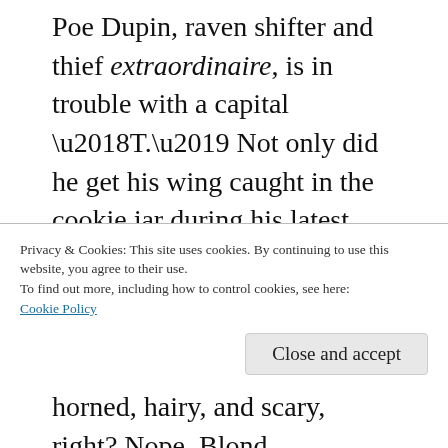Poe Dupin, raven shifter and thief extraordinaire, is in trouble with a capital ‘T.’ Not only did he get his wing caught in the cookie jar during his latest heist, but his loser stepdad, the alpha, seems determined to run their roost into the ground. And Baltimore is many things, but forgiving is not on the list.
When his stepdad puts the roost in peril, Poe sees no choice but to bargain with Charm City’s only demon, Tommy Tittoti. Rumors are that Tommy eats the souls of those foolish enough to try.
Privacy & Cookies: This site uses cookies. By continuing to use this website, you agree to their use.
To find out more, including how to control cookies, see here:
Cookie Policy
Close and accept
horned, hairy, and scary, right? Nope. Blond,